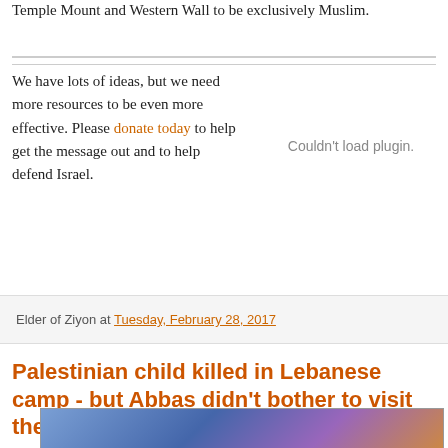Temple Mount and Western Wall to be exclusively Muslim.
We have lots of ideas, but we need more resources to be even more effective. Please donate today to help get the message out and to help defend Israel.
[Figure (other): Couldn't load plugin placeholder area]
Elder of Ziyon at Tuesday, February 28, 2017
Palestinian child killed in Lebanese camp - but Abbas didn't bother to visit the camps when he was there
[Figure (photo): Photo of a child with blue fabric/clothing visible]